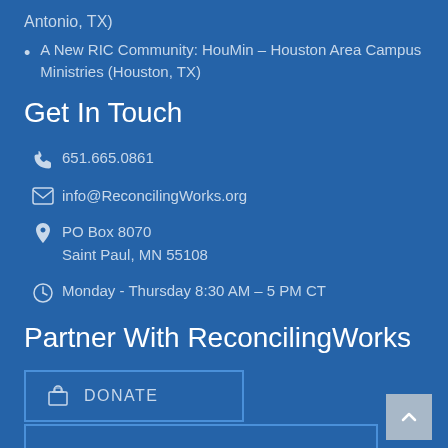Antonio, TX)
A New RIC Community: HouMin – Houston Area Campus Ministries (Houston, TX)
Get In Touch
651.665.0861
info@ReconcilingWorks.org
PO Box 8070
Saint Paul, MN 55108
Monday - Thursday 8:30 AM – 5 PM CT
Partner With ReconcilingWorks
DONATE